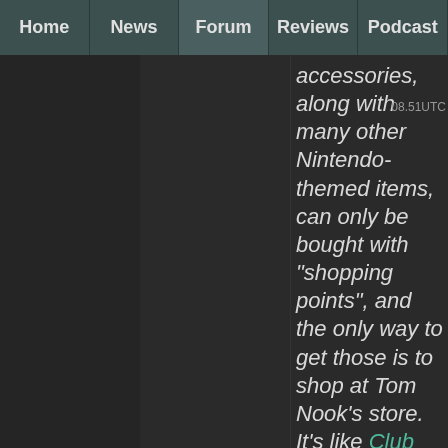Home | News | Forum | Reviews | Podcast
accessories, along with many other Nintendo-themed items, can only be bought with "shopping points", and the only way to get those is to shop at Tom Nook's store. It's like Club Nintendo, but inside a Nintendo game. Maybe it isn't as cool as the playable NES
08.51UTC